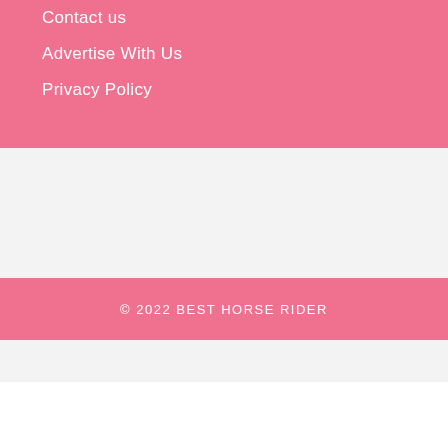Contact us
Advertise With Us
Privacy Policy
© 2022 BEST HORSE RIDER